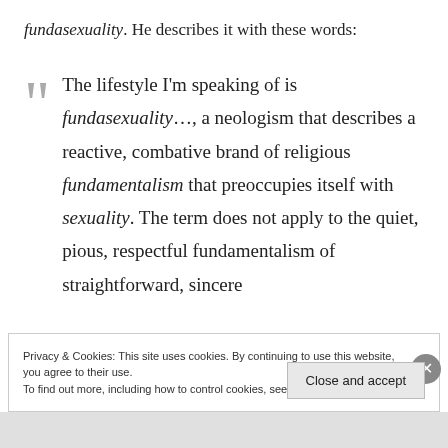fundasexuality. He describes it with these words:
The lifestyle I'm speaking of is fundasexuality…, a neologism that describes a reactive, combative brand of religious fundamentalism that preoccupies itself with sexuality. The term does not apply to the quiet, pious, respectful fundamentalism of straightforward, sincere
Privacy & Cookies: This site uses cookies. By continuing to use this website, you agree to their use.
To find out more, including how to control cookies, see here: Cookie Policy
Close and accept